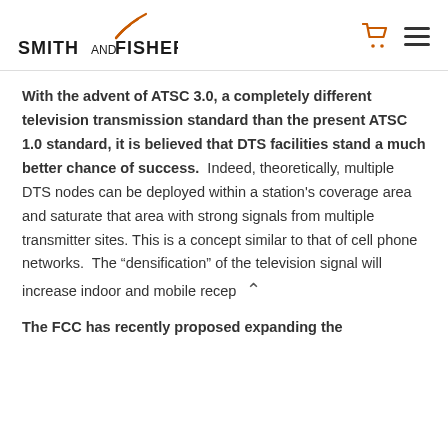SMITH AND FISHER
With the advent of ATSC 3.0, a completely different television transmission standard than the present ATSC 1.0 standard, it is believed that DTS facilities stand a much better chance of success. Indeed, theoretically, multiple DTS nodes can be deployed within a station's coverage area and saturate that area with strong signals from multiple transmitter sites. This is a concept similar to that of cell phone networks. The “densification” of the television signal will increase indoor and mobile recep
The FCC has recently proposed expanding the